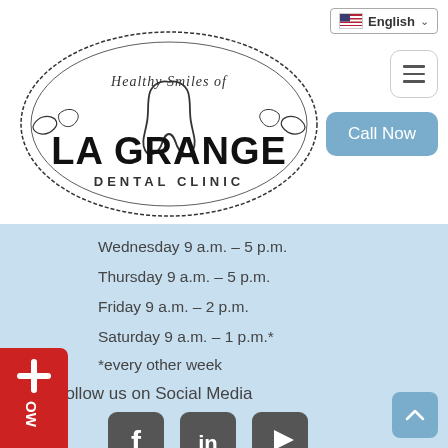[Figure (logo): Healthy Smiles of La Grange Dental Clinic circular logo with tooth illustration]
English
Call Now
Wednesday 9 a.m. – 5 p.m.
Thursday 9 a.m. – 5 p.m.
Friday 9 a.m. – 2 p.m.
Saturday 9 a.m. – 1 p.m.*
*every other week
Follow us on Social Media
[Figure (other): Social media icons: Facebook, LinkedIn, YouTube]